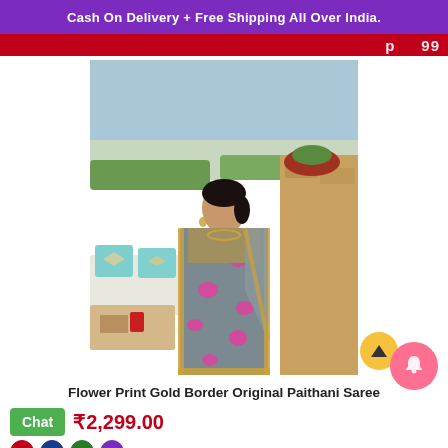Cash On Delivery + Free Shipping All Over India.
[Figure (photo): Woman wearing a grey Paithani saree with pink floral print and gold border, standing outdoors on a terrace with a cityscape in the background.]
Flower Print Gold Border Original Paithani Saree
Chat  ₹2,299.00